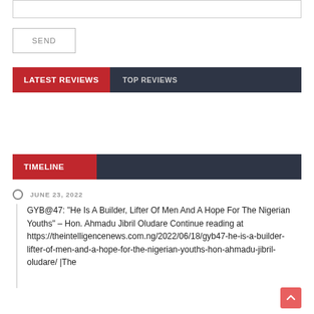[Figure (other): Empty input text box]
SEND
LATEST REVIEWS   TOP REVIEWS
TIMELINE
JUNE 23, 2022
GYB@47: “He Is A Builder, Lifter Of Men And A Hope For The Nigerian Youths” – Hon. Ahmadu Jibril Oludare Continue reading at https://theintelligencenews.com.ng/2022/06/18/gyb47-he-is-a-builder-lifter-of-men-and-a-hope-for-the-nigerian-youths-hon-ahmadu-jibril-oludare/ |The